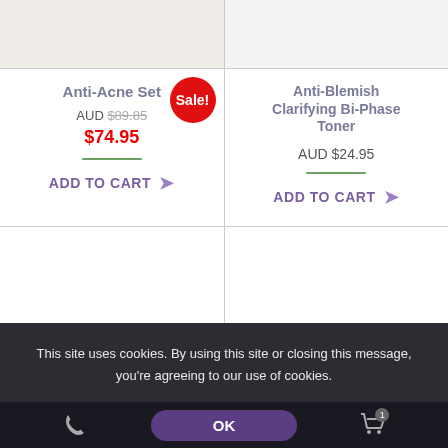[Figure (screenshot): Top portion of product image cards (cropped, showing partial product images)]
Anti-Acne Set
AUD $89.85
$74.95
Sale!
ADD TO CART →
Anti-Blemish Clarifying Bi-Phase Toner
AUD $24.95
ADD TO CART →
[Figure (screenshot): Bottom two product card placeholders (empty image areas)]
This site uses cookies. By using this site or closing this message, you're agreeing to our use of cookies.
OK